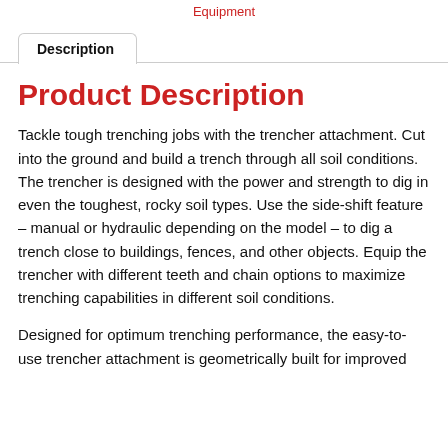Equipment
Description
Product Description
Tackle tough trenching jobs with the trencher attachment. Cut into the ground and build a trench through all soil conditions. The trencher is designed with the power and strength to dig in even the toughest, rocky soil types. Use the side-shift feature – manual or hydraulic depending on the model – to dig a trench close to buildings, fences, and other objects. Equip the trencher with different teeth and chain options to maximize trenching capabilities in different soil conditions.
Designed for optimum trenching performance, the easy-to-use trencher attachment is geometrically built for improved